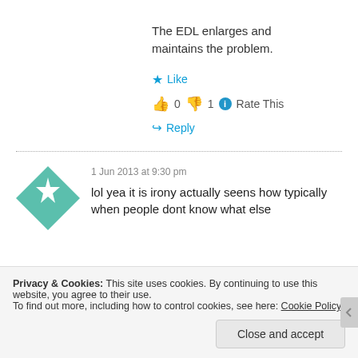The EDL enlarges and maintains the problem.
★ Like
👍 0 👎 1 ℹ Rate This
↪ Reply
1 Jun 2013 at 9:30 pm
lol yea it is irony actually seens how typically when people dont know what else
Privacy & Cookies: This site uses cookies. By continuing to use this website, you agree to their use. To find out more, including how to control cookies, see here: Cookie Policy
Close and accept